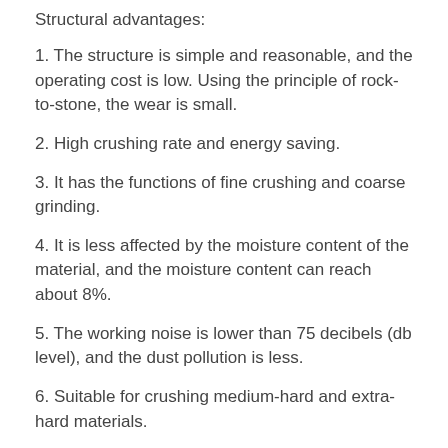Structural advantages:
1. The structure is simple and reasonable, and the operating cost is low. Using the principle of rock-to-stone, the wear is small.
2. High crushing rate and energy saving.
3. It has the functions of fine crushing and coarse grinding.
4. It is less affected by the moisture content of the material, and the moisture content can reach about 8%.
5. The working noise is lower than 75 decibels (db level), and the dust pollution is less.
6. Suitable for crushing medium-hard and extra-hard materials.
7. The products are cubes with high bulk density and